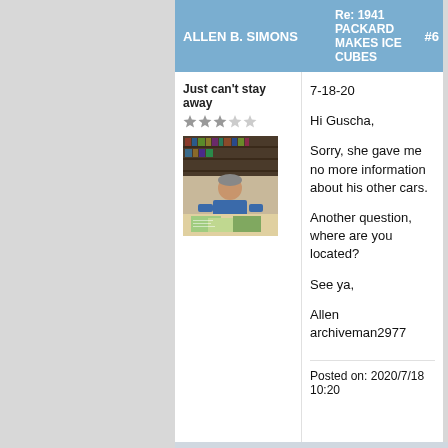ALLEN B. SIMONS | Re: 1941 PACKARD MAKES ICE CUBES | #6
Just can't stay away
[Figure (photo): Photo of a man sitting at a table looking at documents/prints in what appears to be a library or archive setting.]
7-18-20

Hi Guscha,

Sorry, she gave me no more information about his other cars.

Another question, where are you located?

See ya,

Allen
archiveman2977
Posted on: 2020/7/18 10:20
↑